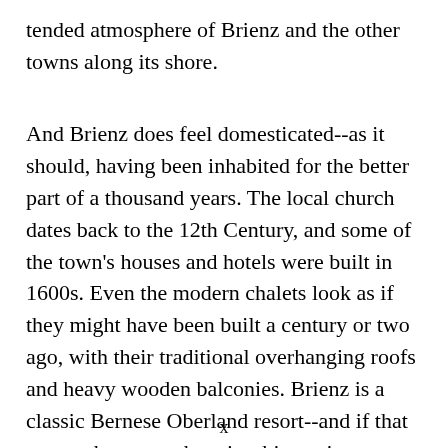tended atmosphere of Brienz and the other towns along its shore.
And Brienz does feel domesticated--as it should, having been inhabited for the better part of a thousand years. The local church dates back to the 12th Century, and some of the town's houses and hotels were built in 1600s. Even the modern chalets look as if they might have been built a century or two ago, with their traditional overhanging roofs and heavy wooden balconies. Brienz is a classic Bernese Oberland resort--and if that means the atmosphere is a bit touristy, so
x